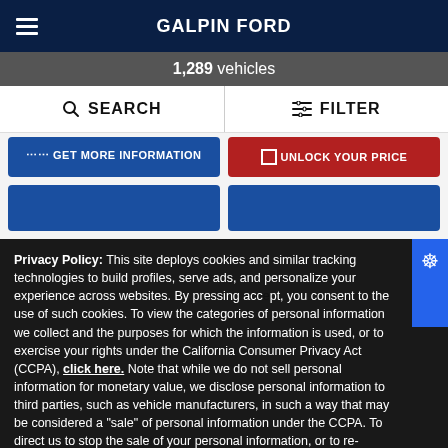GALPIN FORD
1,289 vehicles
SEARCH   FILTER
GET MORE INFORMATION   UNLOCK YOUR PRICE
Privacy Policy: This site deploys cookies and similar tracking technologies to build profiles, serve ads, and personalize your experience across websites. By pressing accept, you consent to the use of such cookies. To view the categories of personal information we collect and the purposes for which the information is used, or to exercise your rights under the California Consumer Privacy Act (CCPA), click here. Note that while we do not sell personal information for monetary value, we disclose personal information to third parties, such as vehicle manufacturers, in such a way that may be considered a "sale" of personal information under the CCPA. To direct us to stop the sale of your personal information, or to re-access these settings or disclosures at anytime, click the following icon or link:
Do Not Sell My Personal Information
Language: English   Powered by ComplyAuto
Accept and Continue →   California Privacy Disclosures